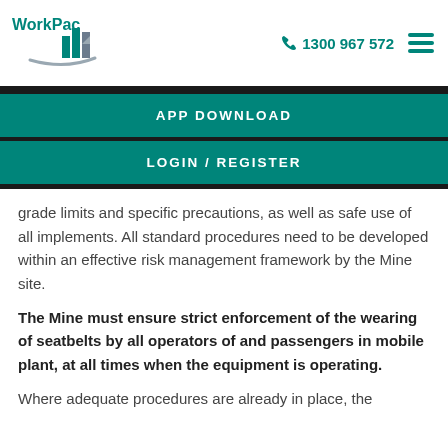[Figure (logo): WorkPac logo with stylized building/bar chart graphic and swoosh]
1300 967 572
APP DOWNLOAD
LOGIN / REGISTER
grade limits and specific precautions, as well as safe use of all implements. All standard procedures need to be developed within an effective risk management framework by the Mine site.
The Mine must ensure strict enforcement of the wearing of seatbelts by all operators of and passengers in mobile plant, at all times when the equipment is operating.
Where adequate procedures are already in place, the